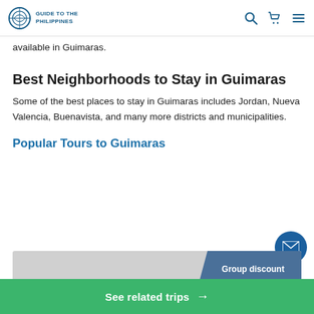Guide to the Philippines
available in Guimaras.
Best Neighborhoods to Stay in Guimaras
Some of the best places to stay in Guimaras includes Jordan, Nueva Valencia, Buenavista, and many more districts and municipalities.
Popular Tours to Guimaras
[Figure (other): Tour card placeholder with Group discount banner]
See related trips